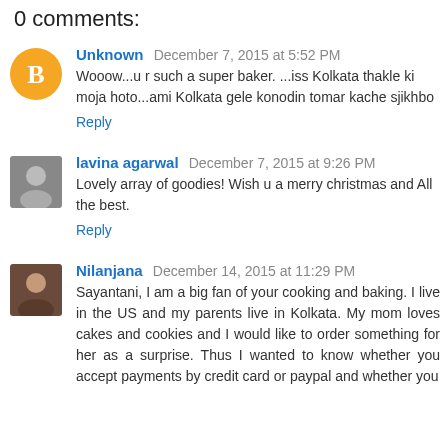0 comments:
Unknown  December 7, 2015 at 5:52 PM
Wooow...u r such a super baker. ...iss Kolkata thakle ki moja hoto...ami Kolkata gele konodin tomar kache sjikhbo
Reply
lavina agarwal  December 7, 2015 at 9:26 PM
Lovely array of goodies! Wish u a merry christmas and All the best.
Reply
Nilanjana  December 14, 2015 at 11:29 PM
Sayantani, I am a big fan of your cooking and baking. I live in the US and my parents live in Kolkata. My mom loves cakes and cookies and I would like to order something for her as a surprise. Thus I wanted to know whether you accept payments by credit card or paypal and whether you